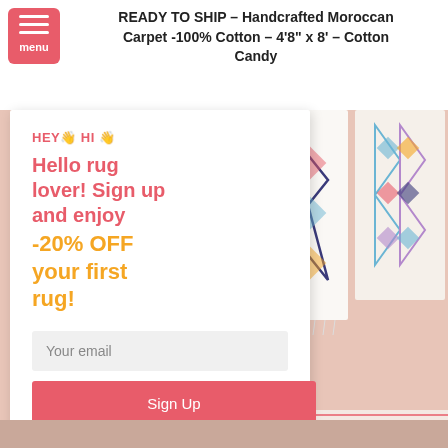READY TO SHIP – Handcrafted Moroccan Carpet -100% Cotton – 4'8" x 8' – Cotton Candy
HEY👋 HI 👋
Hello rug lover! Sign up and enjoy -20% OFF your first rug!
[Figure (photo): Photo of colorful handcrafted Moroccan rugs displayed hanging and rolled in a pink-toned room setting]
Your email
Sign Up